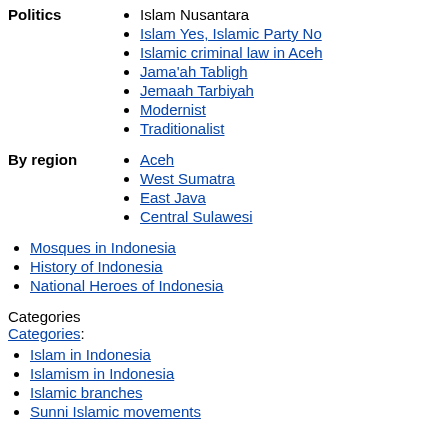Islam Nusantara
Islam Yes, Islamic Party No
Islamic criminal law in Aceh
Jama'ah Tabligh
Jemaah Tarbiyah
Modernist
Traditionalist
Aceh
West Sumatra
East Java
Central Sulawesi
Mosques in Indonesia
History of Indonesia
National Heroes of Indonesia
Categories
Categories:
Islam in Indonesia
Islamism in Indonesia
Islamic branches
Sunni Islamic movements